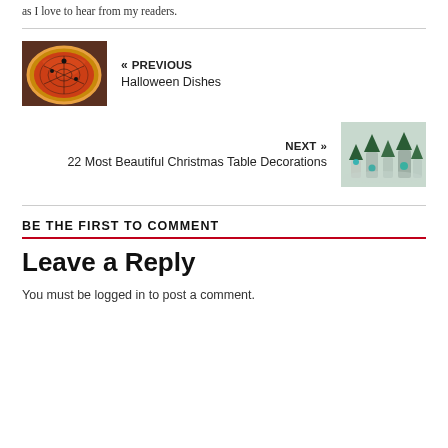as I love to hear from my readers.
« PREVIOUS
Halloween Dishes
[Figure (photo): Thumbnail photo of a Halloween pizza dish]
NEXT »
22 Most Beautiful Christmas Table Decorations
[Figure (photo): Thumbnail photo of Christmas table decorations with silver vases and evergreen trees]
BE THE FIRST TO COMMENT
Leave a Reply
You must be logged in to post a comment.